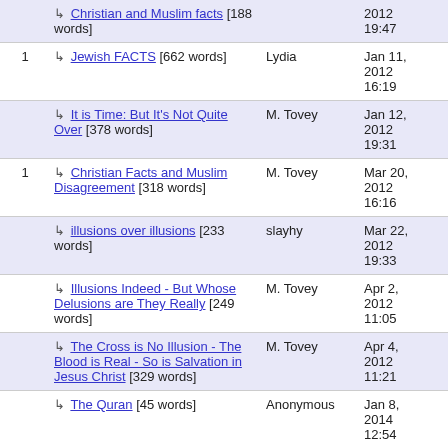Christian and Muslim facts [188 words] — M. Tovey — Jan 10, 2012 19:47
1 → Jewish FACTS [662 words] — Lydia — Jan 11, 2012 16:19
→ It is Time: But It's Not Quite Over [378 words] — M. Tovey — Jan 12, 2012 19:31
1 → Christian Facts and Muslim Disagreement [318 words] — M. Tovey — Mar 20, 2012 16:16
→ illusions over illusions [233 words] — slayhy — Mar 22, 2012 19:33
→ Illusions Indeed - But Whose Delusions are They Really [249 words] — M. Tovey — Apr 2, 2012 11:05
→ The Cross is No Illusion - The Blood is Real - So is Salvation in Jesus Christ [329 words] — M. Tovey — Apr 4, 2012 11:21
→ The Quran [45 words] — Anonymous — Jan 8, 2014 12:54
1 → M. Tovey — Jan 10